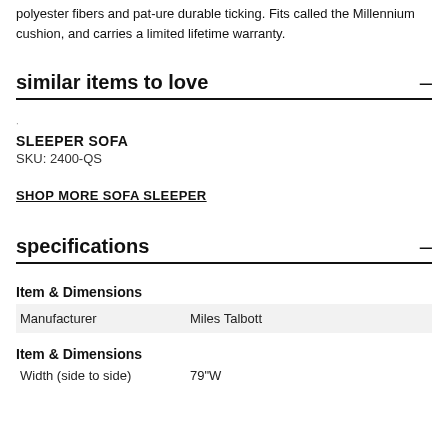polyester fibers and pat-ure durable ticking. Fits called the Millennium cushion, and carries a limited lifetime warranty.
similar items to love
·
SLEEPER SOFA
SKU: 2400-QS
SHOP MORE SOFA SLEEPER
specifications
Item & Dimensions
|  |  |
| --- | --- |
| Manufacturer | Miles Talbott |
Item & Dimensions
Width (side to side)   79"W